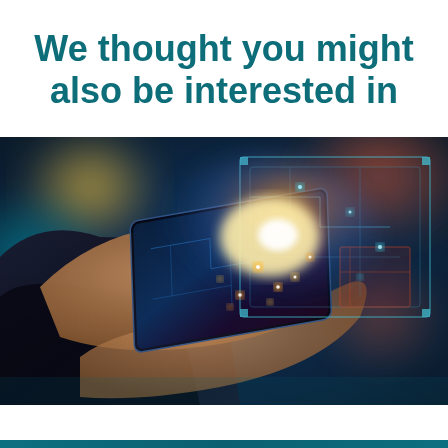We thought you might also be interested in
[Figure (photo): Person holding a tablet/smartphone with holographic digital circuit interface projecting from the screen, glowing lights and bokeh background in colors of teal, yellow, and red/orange.]